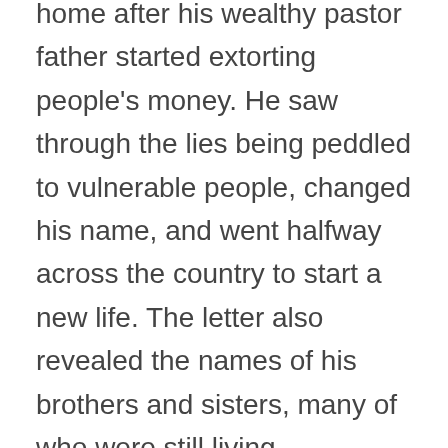home after his wealthy pastor father started extorting people's money. He saw through the lies being peddled to vulnerable people, changed his name, and went halfway across the country to start a new life. The letter also revealed the names of his brothers and sisters, many of who were still living.

None of the family wanted to reach out to those siblings after they learned about what his father had done. That side of the family